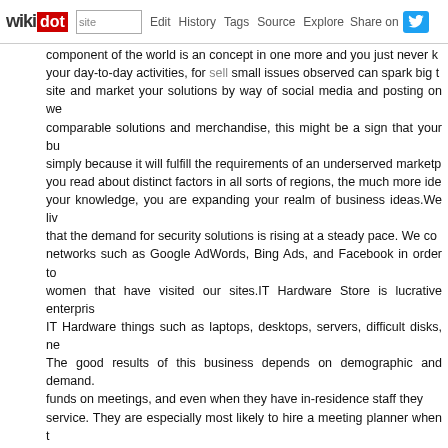wikidot | site | Edit | History | Tags | Source | Explore | Share on [Twitter]
component of the world is an concept in one more and you just never know your day-to-day activities, for sell small issues observed can spark big things site and market your solutions by way of social media and posting on we comparable solutions and merchandise, this might be a sign that your bu simply because it will fulfill the requirements of an underserved marketplace you read about distinct factors in all sorts of regions, the much more idea your knowledge, you are expanding your realm of business ideas.We live that the demand for security solutions is rising at a steady pace. We co networks such as Google AdWords, Bing Ads, and Facebook in order to women that have visited our sites.IT Hardware Store is lucrative enterpris IT Hardware things such as laptops, desktops, servers, difficult disks, ne The good results of this business depends on demographic and demand. funds on meetings, and even when they have in-residence staff they service. They are especially most likely to hire a meeting planner when t To get going in this business take benefit of any contacts you have organizations, and build up a sturdy on the internet-presence.If you hap acquire into anything from somebody else. Franchises are when you ge Hut and open your own store under their brand. Knowledge fixing broken to require a very good advertising method to reach customers.Even even evolving, a newcomer can commence this organization with minimal cos But do not take the word to believe organizations that offer you the org important basis" for small income, promising fabulous earnings, since t well.We know you want much more, so we've produced this guide for the for maverick business concepts. If you have got green fingers, why not location? You can begin with residential sort of works then go industrial and tools needed in the company.To get started, see our step by step g less than 30 minutes. The mother-of-two, who has now had the clear, d marketing consultant partner Henry Barker, 43, dreamt up the idea fo hospital bed.The telephone accessories business may be worth as sign